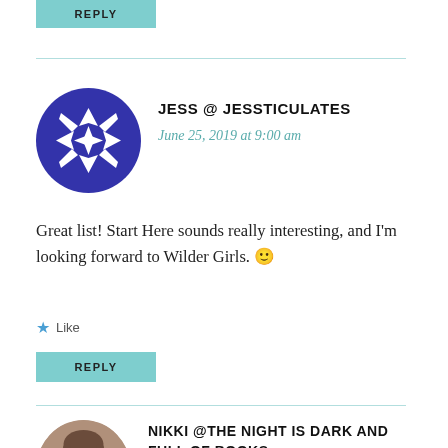REPLY
JESS @ JESSTICULATES
June 25, 2019 at 9:00 am
Great list! Start Here sounds really interesting, and I'm looking forward to Wilder Girls. 🙂
Like
REPLY
NIKKI @THE NIGHT IS DARK AND FULL OF BOOKS
June 25, 2019 at 10:31 am